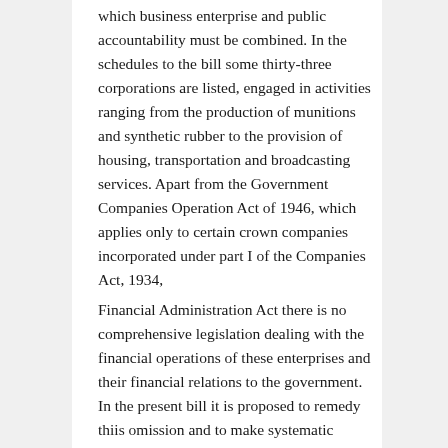which business enterprise and public accountability must be combined. In the schedules to the bill some thirty-three corporations are listed, engaged in activities ranging from the production of munitions and synthetic rubber to the provision of housing, transportation and broadcasting services. Apart from the Government Companies Operation Act of 1946, which applies only to certain crown companies incorporated under part I of the Companies Act, 1934,
Financial Administration Act there is no comprehensive legislation dealing with the financial operations of these enterprises and their financial relations to the government. In the present bill it is proposed to remedy thiis omission and to make systematic provision for